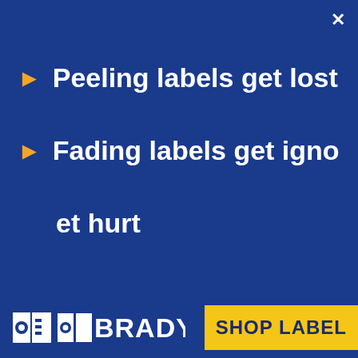Peeling labels get lost
Fading labels get ignored
et hurt
[Figure (logo): Brady corporation logo with icon and text BRADY]
SHOP LABEL